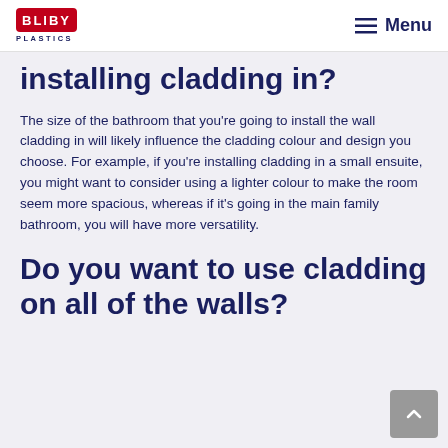BLIBY PLASTICS | Menu
installing cladding in?
The size of the bathroom that you're going to install the wall cladding in will likely influence the cladding colour and design you choose. For example, if you're installing cladding in a small ensuite, you might want to consider using a lighter colour to make the room seem more spacious, whereas if it's going in the main family bathroom, you will have more versatility.
Do you want to use cladding on all of the walls?